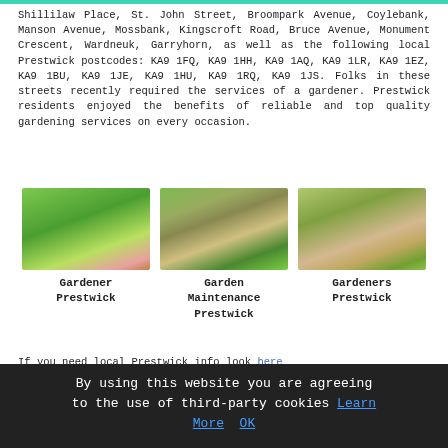Shillilaw Place, St. John Street, Broompark Avenue, Coylebank, Manson Avenue, Mossbank, Kingscroft Road, Bruce Avenue, Monument Crescent, Wardneuk, Garryhorn, as well as the following local Prestwick postcodes: KA9 1FQ, KA9 1HH, KA9 1AQ, KA9 1LR, KA9 1EZ, KA9 1BU, KA9 1JE, KA9 1HU, KA9 1RQ, KA9 1JS. Folks in these streets recently required the services of a gardener. Prestwick residents enjoyed the benefits of reliable and top quality gardening services on every occasion.
[Figure (photo): Garden with green lawn, colorful flower beds, and a house in the background]
Gardener Prestwick
[Figure (photo): Garden maintenance scene with tools and a chair on grass]
Garden Maintenance Prestwick
[Figure (photo): Person trimming a hedge with shears, wearing gloves]
Gardeners Prestwick
If you need local Prestwick info look here
Tree Surgeon Jobs Prestwick: See what Prestwick gardening
By using this website you are agreeing to the use of third-party cookies Learn More OK